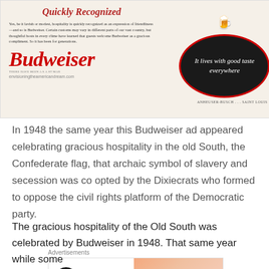[Figure (photo): Vintage Budweiser advertisement from 1948 showing a dark oval with text 'It lives with good taste everywhere', Budweiser brand name in red italic script, and text about gracious hospitality. Site URL envisioningtheamericandream.com shown at bottom left. ANHEUSER-BUSCH ... SAINT LOUIS shown at bottom right.]
In 1948 the same year this Budweiser ad appeared celebrating gracious hospitality in the old South, the Confederate flag, that archaic symbol of slavery and secession was co opted by the Dixiecrats who formed to oppose the civil rights platform of the Democratic party.
[Figure (screenshot): WordPress VIP advertisement banner with orange/salmon gradient on right side and 'Learn more →' button.]
The gracious hospitality of the Old South was celebrated by Budweiser in 1948. That same year while some